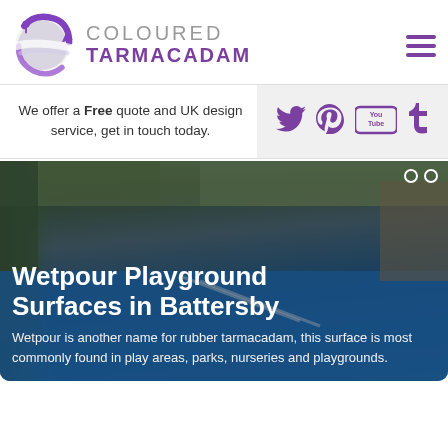[Figure (logo): Coloured Tarmacadam logo with purple swirling globe icon and text 'COLOURED TARMACADAM']
We offer a Free quote and UK design service, get in touch today.
[Figure (infographic): Social media icons: Twitter, Pinterest, YouTube, Tumblr in purple]
[Figure (photo): Playground with blue wetpour rubber surface, wooden fence and greenery in background. Text overlay: 'Wetpour Playground Surfaces in Battersby' and 'Wetpour is another name for rubber tarmacadam, this surface is most commonly found in play areas, parks, nurseries and playgrounds.']